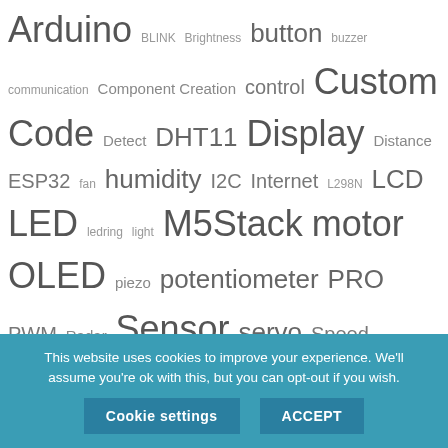Arduino BLINK Brightness button buzzer communication Component Creation control Custom Code Detect DHT11 Display Distance ESP32 fan humidity I2C Internet L298N LCD LED ledring light M5Stack motor OLED piezo potentiometer PRO PWM Radar Sensor servo Speed stepper StickC Temperature Text Time TM1637 TTGO Ultrasonic uno weather Xiao
Find More tutorials here:
[Figure (illustration): Two circular icons: a yellow pixel-art robot with antenna (instructables/DIY), and a blue circle with white circuit-board 'h' logo (Hackster.io)]
This website uses cookies to improve your experience. We'll assume you're ok with this, but you can opt-out if you wish.
Cookie settings   ACCEPT